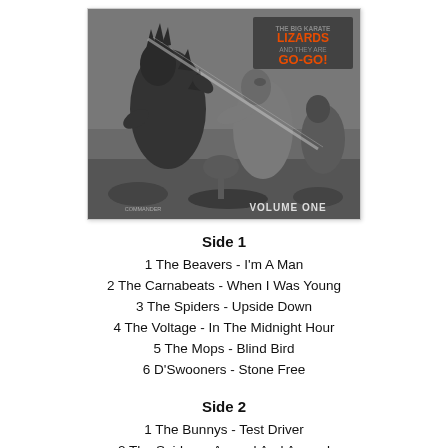[Figure (photo): Album cover for 'Big Lizards Go-Go Volume One' showing black and white monster/kaiju figures battling, with text in orange reading 'BIG LIZARDS GO GO!' in top right, and 'VOLUME ONE' in bottom right.]
Side 1
1 The Beavers - I'm A Man
2 The Carnabeats - When I Was Young
3 The Spiders - Upside Down
4 The Voltage - In The Midnight Hour
5 The Mops - Blind Bird
6 D'Swooners - Stone Free
Side 2
1 The Bunnys - Test Driver
2 The Spiders - Around And Around